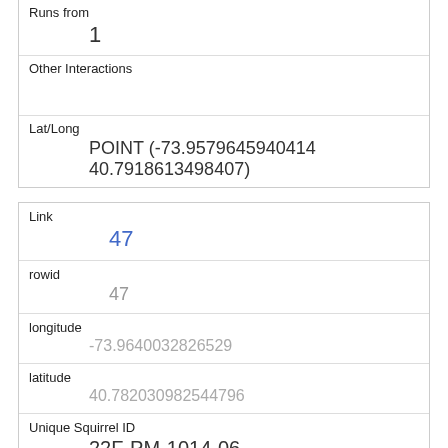| Runs from | 1 |
| Other Interactions |  |
| Lat/Long | POINT (-73.9579645940414 40.7918613498407) |
| Link | 47 |
| rowid | 47 |
| longitude | -73.9640032826529 |
| latitude | 40.782030982544796 |
| Unique Squirrel ID | 22F-PM-1014-06 |
| Hectare | 22F |
| Shift |  |